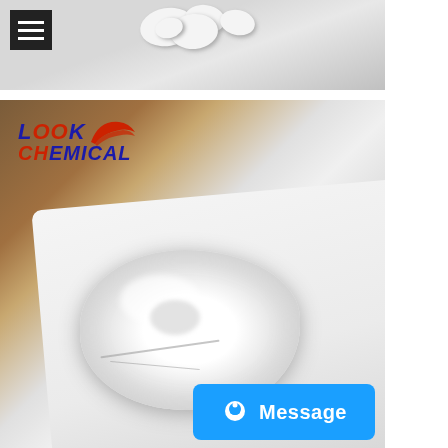[Figure (photo): Top photo showing white lumpy powder/substance on a light grey surface, with a dark hamburger menu button overlay in the top-left corner.]
[Figure (photo): Large photo of white fine powder/substance spread on a white surface, with a wooden table background visible in the upper portion. Look Chemical logo watermark in top-left. Blue 'Message' button with alien icon in bottom-right corner.]